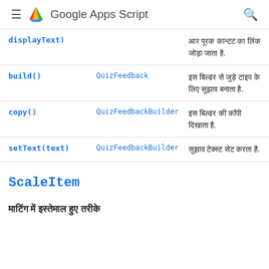Google Apps Script
| displayText) |  | आर पूरक कान्टट का लिंक जोड़ा जाता है. |
| build() | QuizFeedback | इस बिल्डर से जुड़े टाइप के लिए सुझाव बनाता है. |
| copy() | QuizFeedbackBuilder | इस बिल्डर की कॉपी दिखाता है. |
| setText(text) | QuizFeedbackBuilder | सुझाव टेक्स्ट सेट करता है. |
ScaleItem
माटिंग में इस्तेमाल हुए तरीके